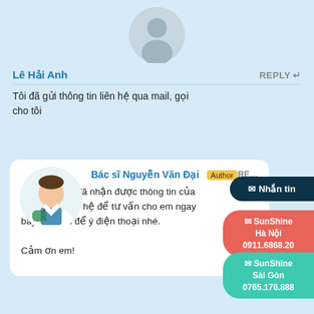[Figure (illustration): Generic user avatar circle with person silhouette in gray]
Lê Hải Anh   REPLY
Tôi đã gửi thông tin liên hệ qua mail, gọi cho tôi
[Figure (photo): Doctor photo in white coat, circular crop]
Bác sĩ Nguyễn Văn Đại  Author  RE…
Phòng khám đã nhận được thông tin của em, và sẽ liên hệ để tư vấn cho em ngay bây giờ. Em để ý điện thoại nhé.

Cảm ơn em!
✉ Nhắn tin
✉ SunShine Hà Nội
0911.6868.20
✉ SunShine Sài Gòn
0765.176.888